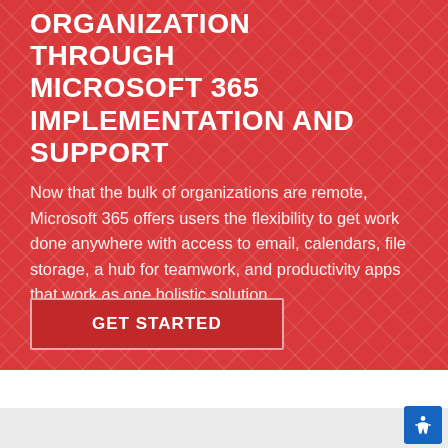ORGANIZATION THROUGH MICROSOFT 365 IMPLEMENTATION AND SUPPORT
Now that the bulk of organizations are remote, Microsoft 365 offers users the flexibility to get work done anywhere with access to email, calendars, file storage, a hub for teamwork, and productivity apps that work as one holistic solution.
GET STARTED